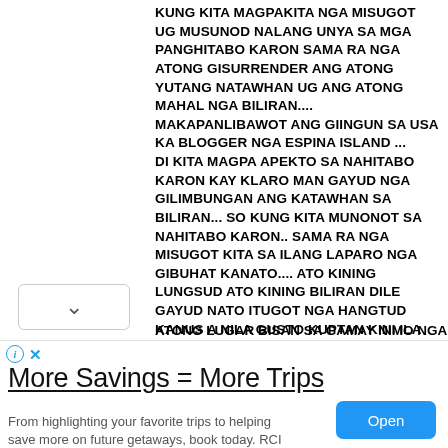KUNG KITA MAGPAKITA NGA MISUGOT UG MUSUNOD NALANG UNYA SA MGA PANGHITABO KARON SAMA RA NGA ATONG GISURRENDER ANG ATONG YUTANG NATAWHAN UG ANG ATONG MAHAL NGA BILIRAN.... MAKAPANLIBAWOT ANG GIINGUN SA USA KA BLOGGER NGA ESPINA ISLAND ... DI KITA MAGPA APEKTO SA NAHITABO KARON KAY KLARO MAN GAYUD NGA GILIMBUNGAN ANG KATAWHAN SA BILIRAN... SO KUNG KITA MUNONOT SA NAHITABO KARON.. SAMA RA NGA MISUGOT KITA SA ILANG LAPARO NGA GIBUHAT KANATO.... ATO KINING LUNGSUD ATO KINING BILIRAN DILE GAYUD NATO ITUGOT NGA HANGTUD KANUS A NILA GUSTO KUPTAN KINI ILA GAYOD BUHATON... SA CAMPAIGN FUND KARON PALIHUG IKAW KUNG BILIRANON KA ,,,,IBALIK NATO ANG KAHAPSAY NING ATONG LUGAR BISAN SA GAMAY NIMO NGA DONATE
More Savings = More Trips From highlighting your favorite trips to helping save more on future getaways, book today. RCI